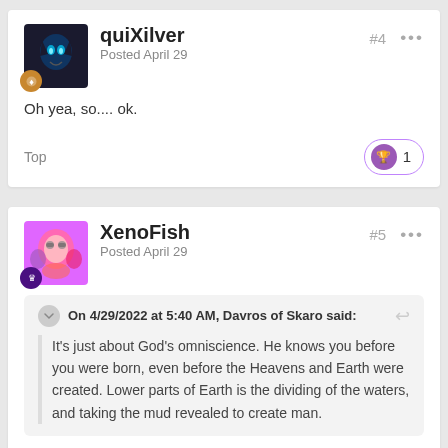quiXilver
Posted April 29
#4
Oh yea, so.... ok.
Top
XenoFish
Posted April 29
#5
On 4/29/2022 at 5:40 AM, Davros of Skaro said:
It's just about God's omniscience. He knows you before you were born, even before the Heavens and Earth were created. Lower parts of Earth is the dividing of the waters, and taking the mud revealed to create man.